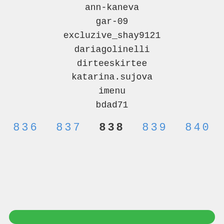ann-kaneva
gar-09
excluzive_shay9121
dariagolinelli
dirteeskirtee
katarina.sujova
imenu
bdad71
836 837 838 839 840